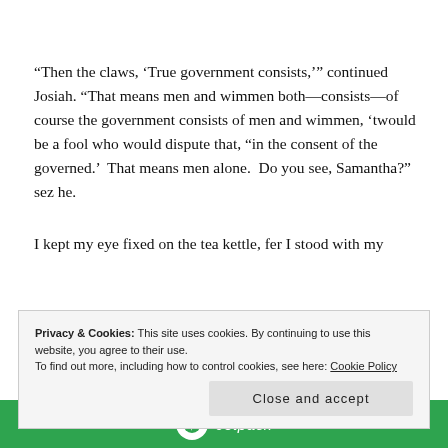“Then the claws, ‘True government consists,’” continued Josiah. “That means men and wimmen both—consists—of course the government consists of men and wimmen, ‘twould be a fool who would dispute that, “in the consent of the governed.’  That means men alone.  Do you see, Samantha?” sez he.
I kept my eye fixed on the tea kettle, fer I stood with my
Privacy & Cookies: This site uses cookies. By continuing to use this website, you agree to their use.
To find out more, including how to control cookies, see here: Cookie Policy
Close and accept